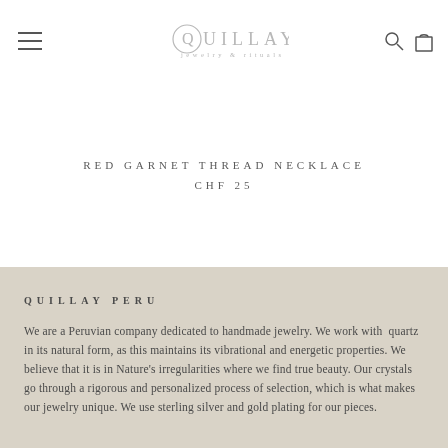QUILLAY jewelry & rituals
RED GARNET THREAD NECKLACE
CHF 25
QUILLAY PERU
We are a Peruvian company dedicated to handmade jewelry. We work with quartz in its natural form, as this maintains its vibrational and energetic properties. We believe that it is in Nature's irregularities where we find true beauty. Our crystals go through a rigorous and personalized process of selection, which is what makes our jewelry unique. We use sterling silver and gold plating for our pieces.